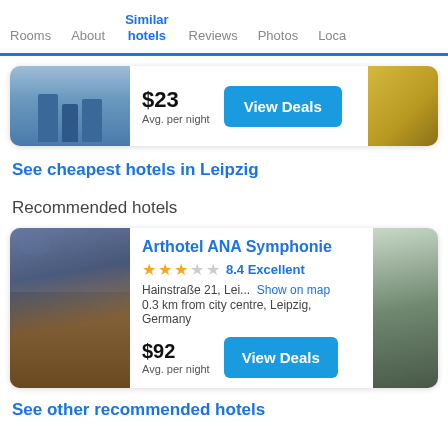Rooms | About | Similar hotels | Reviews | Photos | Loca...
[Figure (screenshot): Hotel card with blue building image and $23 avg per night price with View Deals button]
See cheapest hotels in Leipzig
Recommended hotels
[Figure (screenshot): Arthotel ANA Symphonie hotel card with interior photo, 3 stars, 8.4 Excellent rating, Hainstraße 21, Lei..., 0.3 km from city centre, Leipzig, Germany, $92 avg per night, View Deals button]
See other recommended hotels